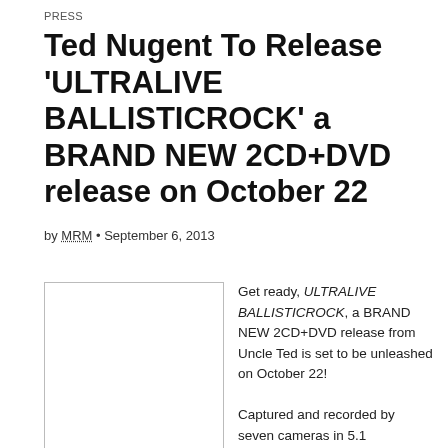PRESS
Ted Nugent To Release 'ULTRALIVE BALLISTICROCK' a BRAND NEW 2CD+DVD release on October 22
by MRM • September 6, 2013
[Figure (photo): White/blank image placeholder]
Get ready, ULTRALIVE BALLISTICROCK, a BRAND NEW 2CD+DVD release from Uncle Ted is set to be unleashed on October 22!

Captured and recorded by seven cameras in 5.1